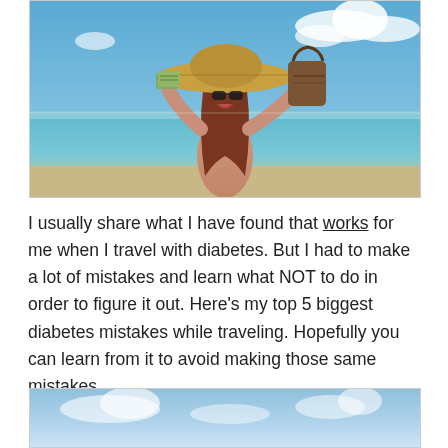[Figure (photo): Woman in black bikini and large sun hat at a tropical beach, holding money in one hand and a bag in the other, laughing. Blue sky and calm water in background.]
I usually share what I have found that works for me when I travel with diabetes. But I had to make a lot of mistakes and learn what NOT to do in order to figure it out. Here's my top 5 biggest diabetes mistakes while traveling. Hopefully you can learn from it to avoid making those same mistakes.
[Figure (photo): Partial view of a beach scene with blue sky and water, bottom of page.]